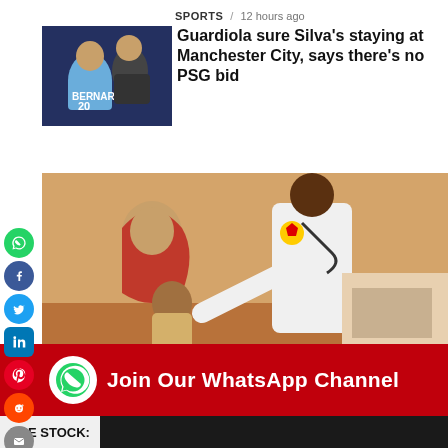SPORTS / 12 hours ago
Guardiola sure Silva's staying at Manchester City, says there's no PSG bid
[Figure (photo): Two soccer players embracing, one wearing a Manchester City jersey with number 20]
[Figure (photo): A doctor in white coat with Shell logo examining a young child held by a woman in a red hijab; advertisement banner below reads WE ARE EMPOWERING LIVES]
[Figure (infographic): Red banner with WhatsApp icon: Join Our WhatsApp Channel]
NSE STOCK: